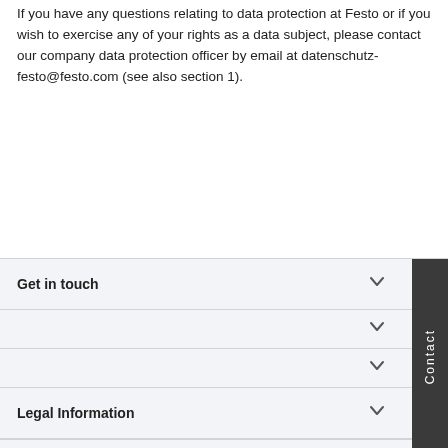If you have any questions relating to data protection at Festo or if you wish to exercise any of your rights as a data subject, please contact our company data protection officer by email at datenschutz-festo@festo.com (see also section 1).
Get in touch
Legal Information